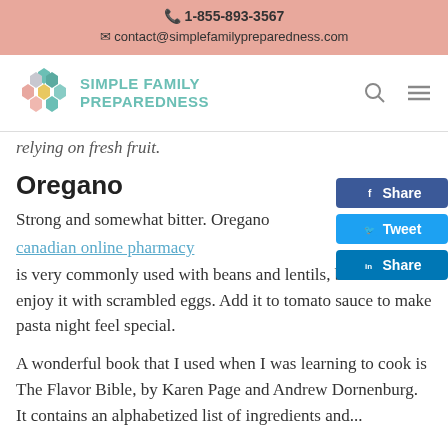📞 1-855-893-3567
✉ contact@simplefamilypreparedness.com
[Figure (logo): Simple Family Preparedness logo with honeycomb hexagon icon in teal, yellow, and pink colors, and teal text reading SIMPLE FAMILY PREPAREDNESS]
relying on fresh fruit.
Oregano
Strong and somewhat bitter. Oregano
canadian online pharmacy
is very commonly used with beans and lentils, but I also enjoy it with scrambled eggs. Add it to tomato sauce to make pasta night feel special.
A wonderful book that I used when I was learning to cook is The Flavor Bible, by Karen Page and Andrew Dornenburg. It contains an alphabetized list of ingredients and...